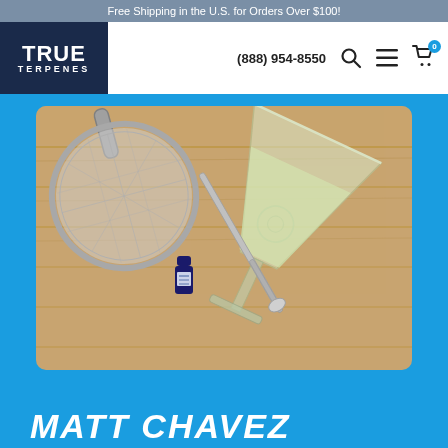Free Shipping in the U.S. for Orders Over $100!
[Figure (logo): True Terpenes logo - white text on dark navy background]
(888) 954-8550
[Figure (photo): Overhead view on wooden surface: a metal mesh strainer, a martini glass with pale liquid, a small dark blue bottle of terpenes, and a bar mixing spoon]
MATT CHAVEZ